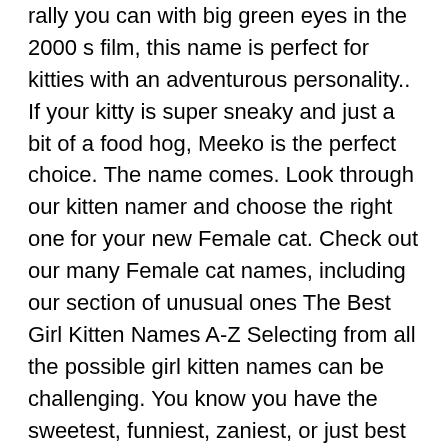rally you can with big green eyes in the 2000 s film, this name is perfect for kitties with an adventurous personality.. If your kitty is super sneaky and just a bit of a food hog, Meeko is the perfect choice. The name comes. Look through our kitten namer and choose the right one for your new Female cat. Check out our many Female cat names, including our section of unusual ones The Best Girl Kitten Names A-Z Selecting from all the possible girl kitten names can be challenging. You know you have the sweetest, funniest, zaniest, or just best little girl kitten in the whole world, but landing on the best name for her can be a challenge!
> Names for Girl Cats – 100 Purrfect Names for Your Female Kitty. Names for Girl Cats – 100 Purrfect Names for Your Female Kitty. 17,849 views. 10 min read.. Best Kitten Food 2020 – Our Guide To The Healthiest Choi